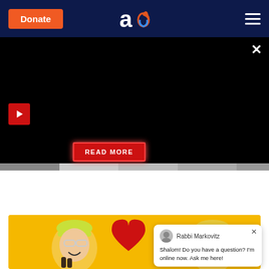[Figure (screenshot): Website header with dark navy background, orange Donate button on left, 'ao' logo with flame in center, hamburger menu icon on right]
[Figure (screenshot): Black advertisement/video banner area with red play button on left, red glowing READ MORE button in center, and X close button top right]
Save Your Marriage
[Figure (photo): Two construction workers (man and woman) with yellow hard hats holding a large red heart on yellow background]
[Figure (screenshot): Chat popup widget with Rabbi Markovitz avatar, text: Shalom! Do you have a question? I'm online now. Ask me here!]